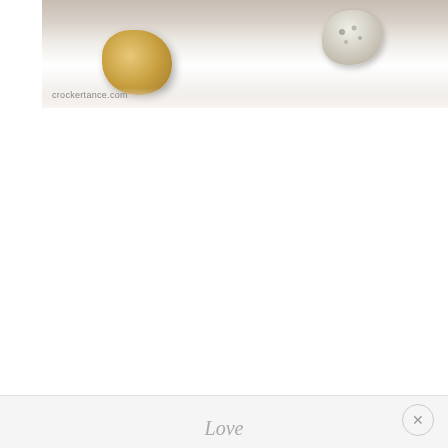[Figure (photo): A white plate with food items on it — a golden-brown fried or baked item on the left and a lighter colored item on the right, photographed from above. A watermark reading 'crockertance.com' or similar appears in the lower left of the photo.]
So, I make my own ‘Ebenzer’ stones. My tangible reminders of His
Love